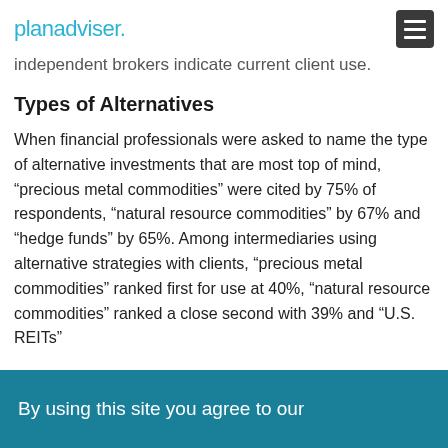planadviser.
independent brokers indicate current client use.
Types of Alternatives
When financial professionals were asked to name the type of alternative investments that are most top of mind, “precious metal commodities” were cited by 75% of respondents, “natural resource commodities” by 67% and “hedge funds” by 65%. Among intermediaries using alternative strategies with clients, “precious metal commodities” ranked first for use at 40%, “natural resource commodities” ranked a close second with 39% and “U.S. REITs”
By using this site you agree to our